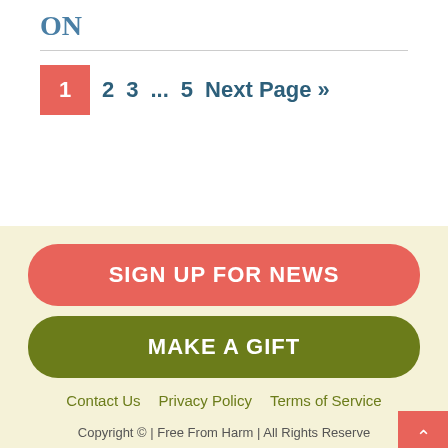ON
1  2  3  ...  5  Next Page »
SIGN UP FOR NEWS
MAKE A GIFT
Contact Us  Privacy Policy  Terms of Service
Copyright © | Free From Harm | All Rights Reserved